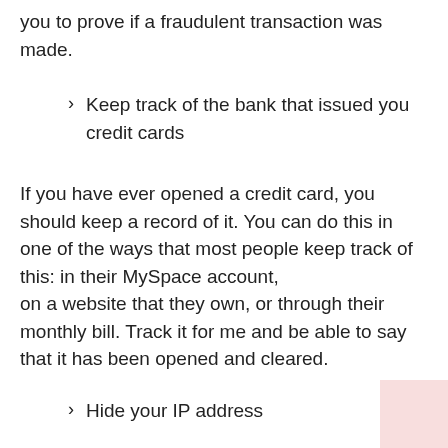you to prove if a fraudulent transaction was made.
Keep track of the bank that issued you credit cards
If you have ever opened a credit card, you should keep a record of it. You can do this in one of the ways that most people keep track of this: in their MySpace account, on a website that they own, or through their monthly bill. Track it for me and be able to say that it has been opened and cleared.
Hide your IP address
Your IP address is the unique id of your